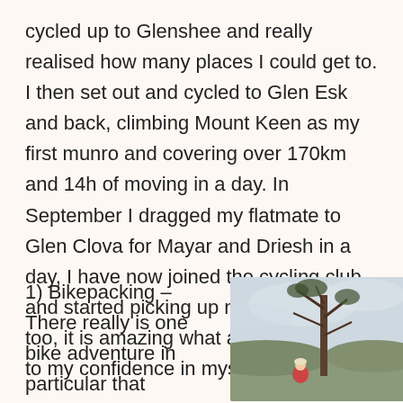cycled up to Glenshee and really realised how many places I could get to. I then set out and cycled to Glen Esk and back, climbing Mount Keen as my first munro and covering over 170km and 14h of moving in a day. In September I dragged my flatmate to Glen Clova for Mayar and Driesh in a day, I have now joined the cycling club and started picking up mountain biking too, it is amazing what a bike could do to my confidence in myself.
1) Bikepacking - There really is one bike adventure in particular that
[Figure (photo): Outdoor photo of a person standing near a tall tree with an overcast sky and landscape in the background]